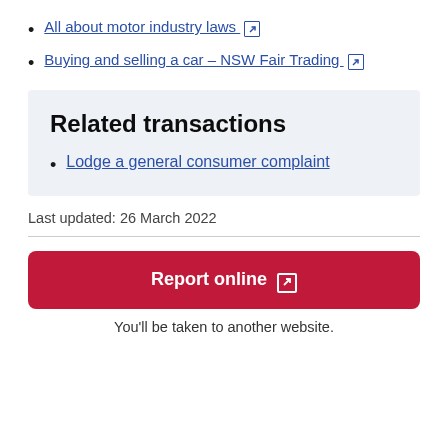All about motor industry laws ↗
Buying and selling a car – NSW Fair Trading ↗
Related transactions
Lodge a general consumer complaint
Last updated: 26 March 2022
Report online ↗
You'll be taken to another website.